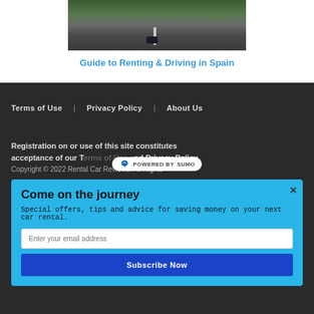[Figure (photo): Car driving on a road through green mountainous landscape in Spain]
Guide to Renting & Driving in Spain
Terms of Use   Privacy Policy   About Us
Registration on or use of this site constitutes acceptance of our Terms of Use and Privacy Policy. Copyright © 2022 Rental Car Reviews. All Rights
[Figure (logo): Powered by Sumo badge/logo]
Come on the journey
Special offers, tips and advice for saving money on your next car rental.
Enter your email address
Subscribe Now